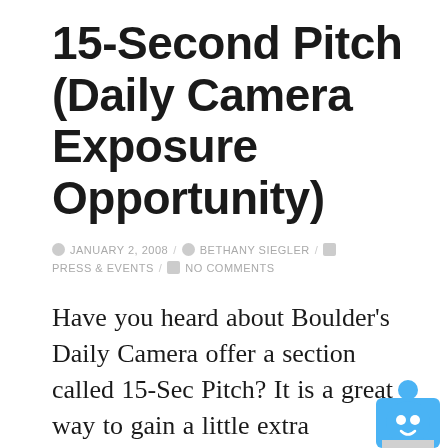15-Second Pitch (Daily Camera Exposure Opportunity)
JANUARY 2, 2008 / BETHANY SIEGLER / PRESS & EVENTS / NO COMMENTS
Have you heard about Boulder's Daily Camera offer a section called 15-Sec Pitch? It is a great way to gain a little extra exposure for your company. I decided to give it a try and within a week or two, they listed me! And, I have already gotten several calls from people